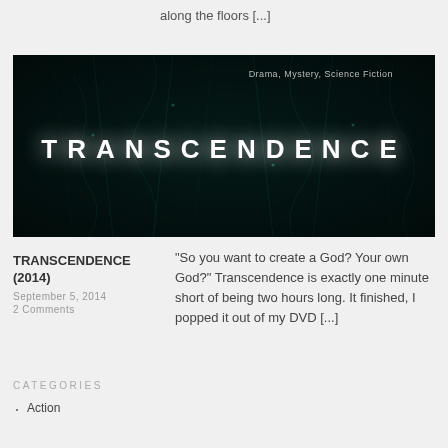along the floors [...]
[Figure (photo): Movie banner for TRANSCENDENCE with dark teal neural network background and glowing white title text. Top right shows genre tags: Drama, Mystery, Science Fiction]
TRANSCENDENCE (2014)
September 5, 2014
2 Comments
“So you want to create a God? Your own God?” Transcendence is exactly one minute short of being two hours long. It finished, I popped it out of my DVD [...]
CATEGORIES
Action